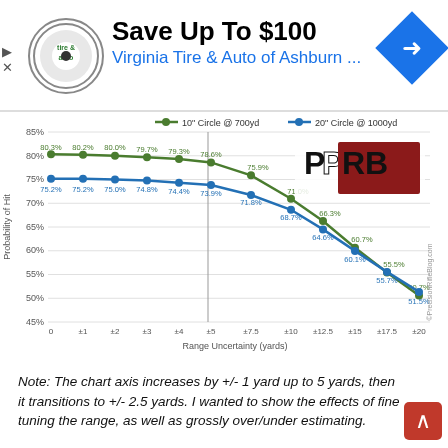[Figure (other): Advertisement banner: Save Up To $100, Virginia Tire & Auto of Ashburn..., with logo and navigation arrow icon]
[Figure (line-chart): Probability of Hit vs Range Uncertainty]
Note: The chart axis increases by +/- 1 yard up to 5 yards, then it transitions to +/- 2.5 yards. I wanted to show the effects of fine tuning the range, as well as grossly over/under estimating.